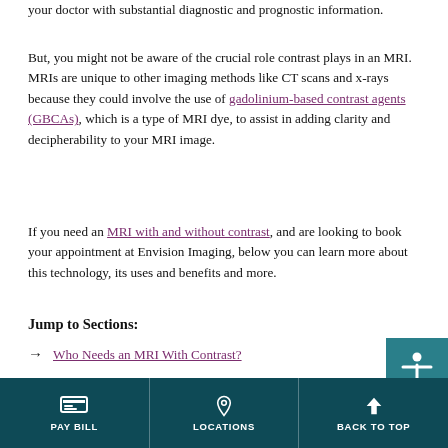your doctor with substantial diagnostic and prognostic information.
But, you might not be aware of the crucial role contrast plays in an MRI. MRIs are unique to other imaging methods like CT scans and x-rays because they could involve the use of gadolinium-based contrast agents (GBCAs), which is a type of MRI dye, to assist in adding clarity and decipherability to your MRI image.
If you need an MRI with and without contrast, and are looking to book your appointment at Envision Imaging, below you can learn more about this technology, its uses and benefits and more.
Jump to Sections:
Who Needs an MRI With Contrast?
Uses of an MRI With Contrast
PAY BILL | LOCATIONS | BACK TO TOP